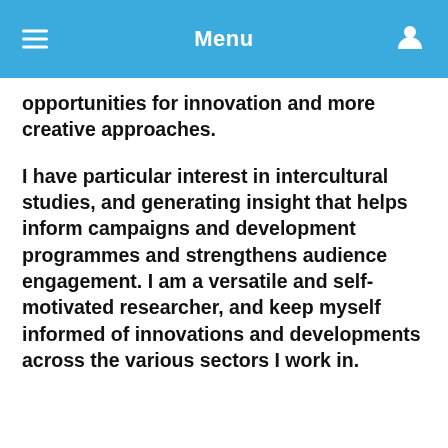Menu
opportunities for innovation and more creative approaches.
I have particular interest in intercultural studies, and generating insight that helps inform campaigns and development programmes and strengthens audience engagement. I am a versatile and self-motivated researcher, and keep myself informed of innovations and developments across the various sectors I work in.